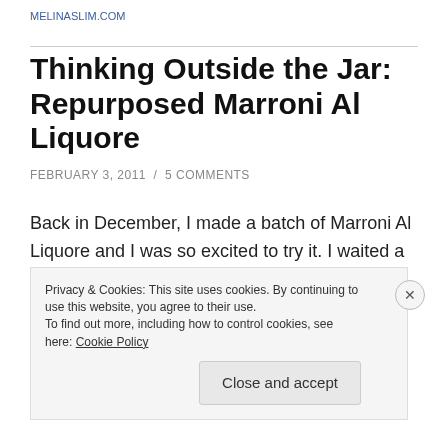MELINASLIM.COM
Thinking Outside the Jar: Repurposed Marroni Al Liquore
FEBRUARY 3, 2011 / 5 COMMENTS
Back in December, I made a batch of Marroni Al Liquore and I was so excited to try it. I waited a couple weeks to really let the flavours mellow and give the chestnuts a chance to soften and eagerly tucked into my
Privacy & Cookies: This site uses cookies. By continuing to use this website, you agree to their use.
To find out more, including how to control cookies, see here: Cookie Policy
Close and accept